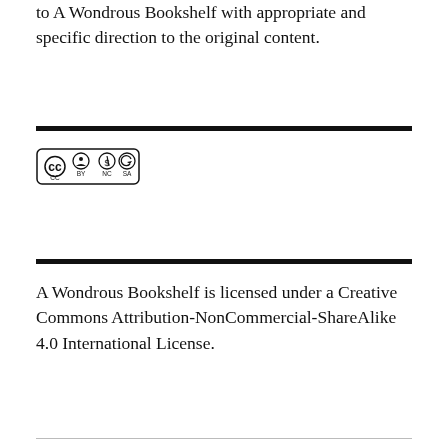to A Wondrous Bookshelf with appropriate and specific direction to the original content.
[Figure (logo): Creative Commons license icons: CC BY NC SA badges in a rounded rectangle border]
A Wondrous Bookshelf is licensed under a Creative Commons Attribution-NonCommercial-ShareAlike 4.0 International License.